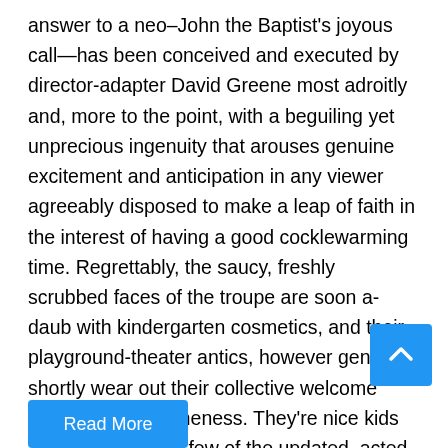answer to a neo–John the Baptist's joyous call—has been conceived and executed by director-adapter David Greene most adroitly and, more to the point, with a beguiling yet unprecious ingenuity that arouses genuine excitement and anticipation in any viewer agreeably disposed to make a leap of faith in the interest of having a good cocklewarming time. Regrettably, the saucy, freshly scrubbed faces of the troupe are soon a-daub with kindergarten cosmetics, and their playground-theater antics, however genial, shortly wear out their collective welcome through sheer sameness. They're nice kids and all that, and a few of the updated, acted-out parables are amusing, and Greene's direction does manage the difficult feat of remaining ingenious without tipping too frequently into frippery or flippancy.